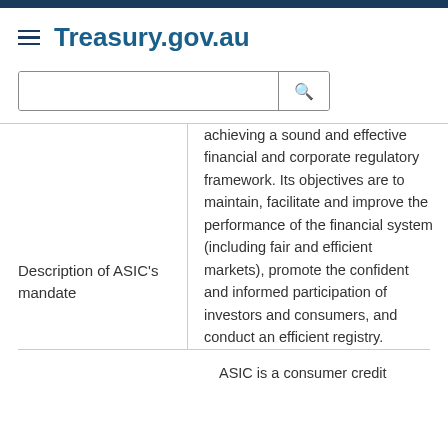Treasury.gov.au
achieving a sound and effective financial and corporate regulatory framework. Its objectives are to maintain, facilitate and improve the performance of the financial system (including fair and efficient markets), promote the confident and informed participation of investors and consumers, and conduct an efficient registry.
Description of ASIC's mandate
ASIC is a consumer credit